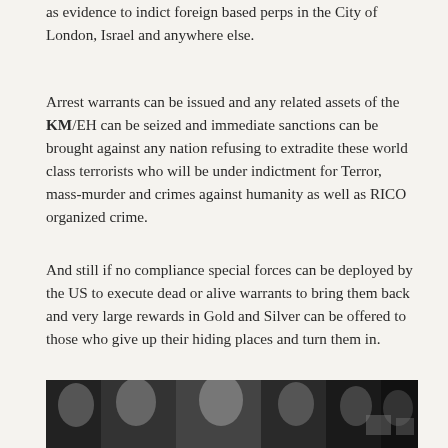as evidence to indict foreign based perps in the City of London, Israel and anywhere else.
Arrest warrants can be issued and any related assets of the KM/EH can be seized and immediate sanctions can be brought against any nation refusing to extradite these world class terrorists who will be under indictment for Terror, mass-murder and crimes against humanity as well as RICO organized crime.
And still if no compliance special forces can be deployed by the US to execute dead or alive warrants to bring them back and very large rewards in Gold and Silver can be offered to those who give up their hiding places and turn them in.
[Figure (photo): Black and white photograph showing a group of people, partially visible at the bottom of the page.]